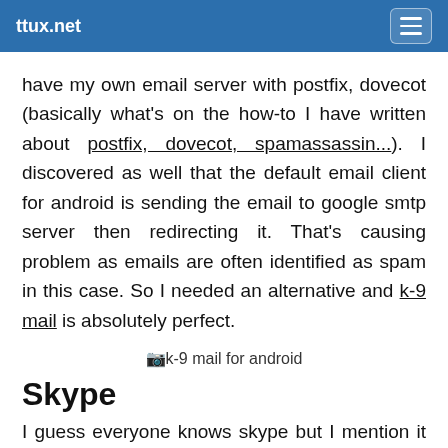ttux.net
have my own email server with postfix, dovecot (basically what's on the how-to I have written about postfix, dovecot, spamassassin...). I discovered as well that the default email client for android is sending the email to google smtp server then redirecting it. That's causing problem as emails are often identified as spam in this case. So I needed an alternative and k-9 mail is absolutely perfect.
[Figure (other): k-9 mail for android image placeholder]
Skype
I guess everyone knows skype but I mention it for those who don't know it's available on android. You can do skype